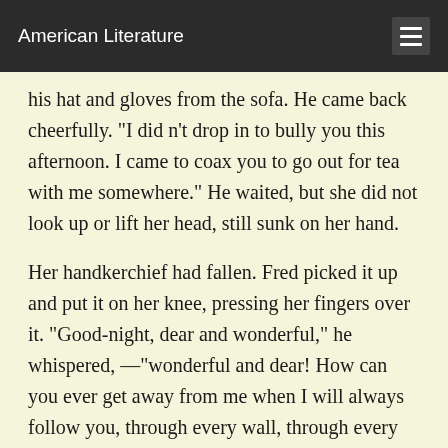American Literature
his hat and gloves from the sofa. He came back cheerfully. "I did n't drop in to bully you this afternoon. I came to coax you to go out for tea with me somewhere." He waited, but she did not look up or lift her head, still sunk on her hand.
Her handkerchief had fallen. Fred picked it up and put it on her knee, pressing her fingers over it. "Good-night, dear and wonderful," he whispered, —"wonderful and dear! How can you ever get away from me when I will always follow you, through every wall, through every door, wherever you go;" He looked down at her bent head, and the curve of her neck that was so sad. He stooped, and with his